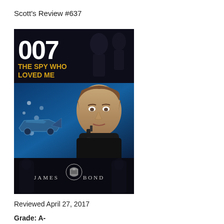Scott's Review #637
[Figure (photo): Movie poster for 007: The Spy Who Loved Me (James Bond). Top section shows the 007 logo and title 'THE SPY WHO LOVED ME' in gold text on dark background. Middle section shows Roger Moore as James Bond holding a gun, with an underwater car/submarine scene on the left against a blue background. Bottom section shows 'JAMES BOND' text with a royal crest on a dark background.]
Reviewed April 27, 2017
Grade: A-